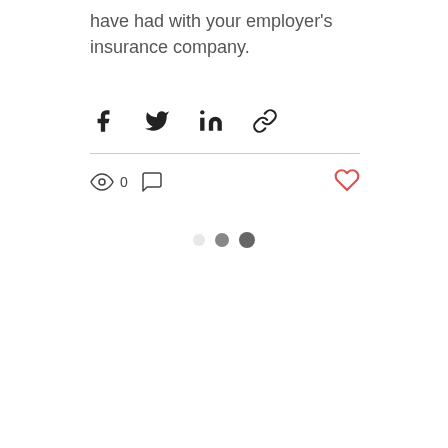have had with your employer's insurance company.
[Figure (other): Social share buttons row: Facebook, Twitter, LinkedIn, and link icons]
[Figure (other): Engagement bar with eye/views icon showing 0 views, comment bubble icon, and a heart/like icon on the right]
[Figure (other): Three dots pagination indicator: one light/white dot, one medium gray dot, one dark gray dot]